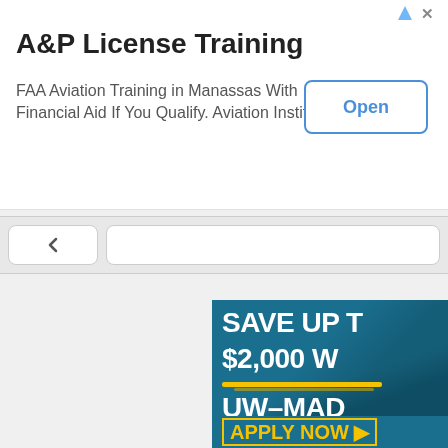A&P License Training
FAA Aviation Training in Manassas With Financial Aid If You Qualify. Aviation Institute
Open
[Figure (screenshot): Browser navigation bar with back button and URL bar area]
[Figure (infographic): UW-Madison online program advertisement banner with teal/blue background showing text: SAVE UP T[O] $2,000 W[ITH] UW-MAD[ISON] ONLINE and APPLY NOW button in yellow]